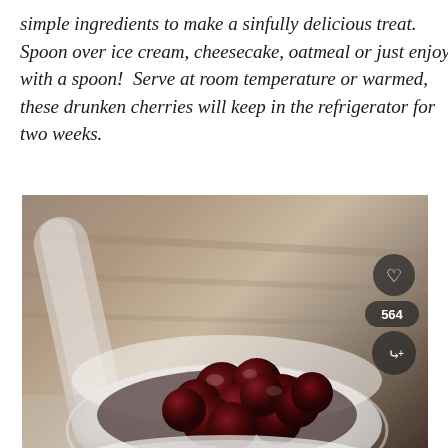simple ingredients to make a sinfully delicious treat.  Spoon over ice cream, cheesecake, oatmeal or just enjoy with a spoon!  Serve at room temperature or warmed, these drunken cherries will keep in the refrigerator for two weeks.
[Figure (photo): A white bowl filled with dark red drunken cherries, with a spoon resting beside the bowl on a wooden surface. A heart/like button, share count of 564, and a share button overlay the bottom-right of the image.]